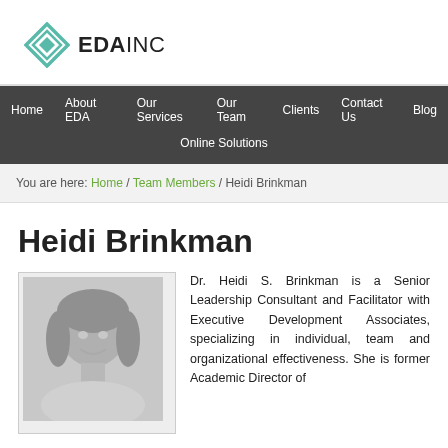[Figure (logo): EDA INC logo with teal diamond/arrow icon and bold black text EDAINC]
Home | About EDA | Our Services | Our Team | Clients | Contact Us | Blog | Online Solutions
You are here: Home / Team Members / Heidi Brinkman
Heidi Brinkman
[Figure (photo): Black and white headshot photo of Heidi Brinkman, a woman with shoulder-length blonde hair, smiling]
Dr. Heidi S. Brinkman is a Senior Leadership Consultant and Facilitator with Executive Development Associates, specializing in individual, team and organizational effectiveness. She is former Academic Director of